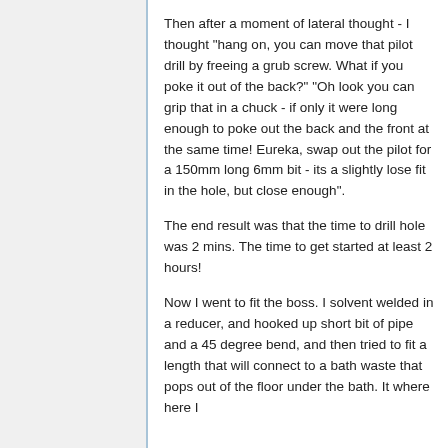Then after a moment of lateral thought - I thought "hang on, you can move that pilot drill by freeing a grub screw. What if you poke it out of the back?" "Oh look you can grip that in a chuck - if only it were long enough to poke out the back and the front at the same time! Eureka, swap out the pilot for a 150mm long 6mm bit - its a slightly lose fit in the hole, but close enough".
The end result was that the time to drill hole was 2 mins. The time to get started at least 2 hours!
Now I went to fit the boss. I solvent welded in a reducer, and hooked up short bit of pipe and a 45 degree bend, and then tried to fit a length that will connect to a bath waste that pops out of the floor under the bath. It where here I